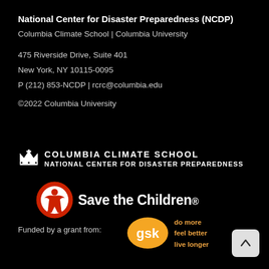National Center for Disaster Preparedness (NCDP)
Columbia Climate School | Columbia University
475 Riverside Drive, Suite 401
New York, NY 10115-0095
P (212) 853-NCDP | rcrc@columbia.edu
©2022 Columbia University
[Figure (logo): Columbia Climate School National Center for Disaster Preparedness logo with crown icon]
[Figure (logo): Save the Children logo with red circular figure icon and white text]
Funded by a grant from:
[Figure (logo): GSK logo orange rounded shape with text 'do more feel better live longer']